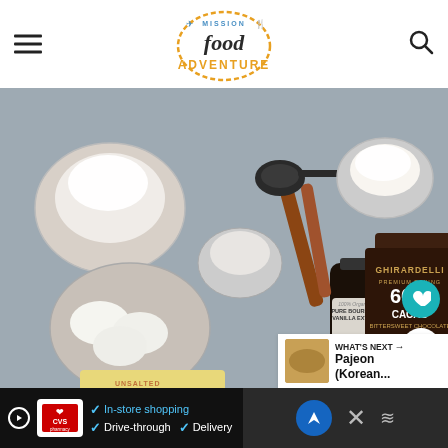Mission Food Adventure
[Figure (photo): Overhead flat-lay photo of baking ingredients: flour in a white bowl, small bowl of white powder, three eggs in a bowl, a stick of butter, a bottle of 100% Organic Pure Bourbon Vanilla Extract, two packages of Ghirardelli 60% Cacao Bittersweet Chocolate, cinnamon sticks, measuring spoons, and a bowl of cream/milk on a grey surface.]
WHAT'S NEXT → Pajeon (Korean...
✓ In-store shopping  ✓ Drive-through  ✓ Delivery